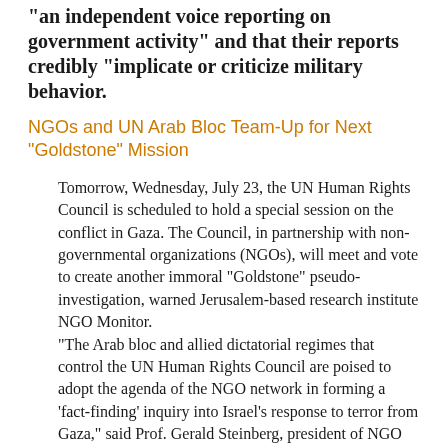“an independent voice reporting on government activity” and that their reports credibly “implicate or criticize military behavior.
NGOs and UN Arab Bloc Team-Up for Next "Goldstone" Mission
Tomorrow, Wednesday, July 23, the UN Human Rights Council is scheduled to hold a special session on the conflict in Gaza. The Council, in partnership with non-governmental organizations (NGOs), will meet and vote to create another immoral "Goldstone" pseudo-investigation, warned Jerusalem-based research institute NGO Monitor. "The Arab bloc and allied dictatorial regimes that control the UN Human Rights Council are poised to adopt the agenda of the NGO network in forming a 'fact-finding' inquiry into Israel's response to terror from Gaza," said Prof. Gerald Steinberg, president of NGO Monitor. “As with